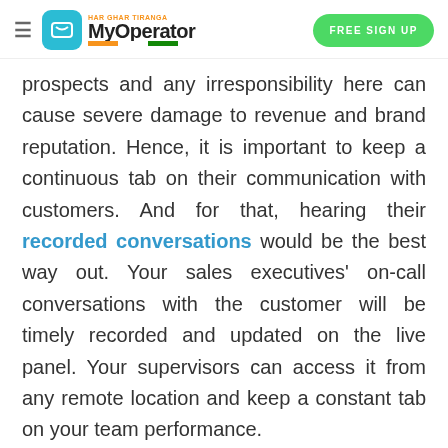MyOperator — HAR GHAR TIRANGA — FREE SIGN UP
prospects and any irresponsibility here can cause severe damage to revenue and brand reputation. Hence, it is important to keep a continuous tab on their communication with customers. And for that, hearing their recorded conversations would be the best way out. Your sales executives' on-call conversations with the customer will be timely recorded and updated on the live panel. Your supervisors can access it from any remote location and keep a constant tab on your team performance.
TRY THEM